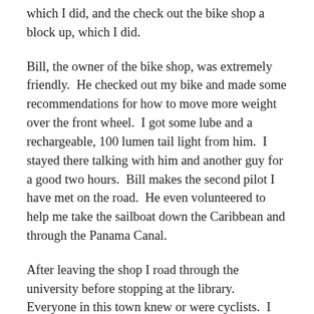which I did, and the check out the bike shop a block up, which I did.
Bill, the owner of the bike shop, was extremely friendly.  He checked out my bike and made some recommendations for how to move more weight over the front wheel.  I got some lube and a rechargeable, 100 lumen tail light from him.  I stayed there talking with him and another guy for a good two hours.  Bill makes the second pilot I have met on the road.  He even volunteered to help me take the sailboat down the Caribbean and through the Panama Canal.
After leaving the shop I road through the university before stopping at the library.  Everyone in this town knew or were cyclists.  I didn't get the usual stares as I entered a building with my spandex.  When the library closed, it was time for dinner.  I know I ate something, but can not remember what.  Everyone I met suggested I go to the Fremont Lakes.  The lakes were a bunch of sand pits that were filled in used for